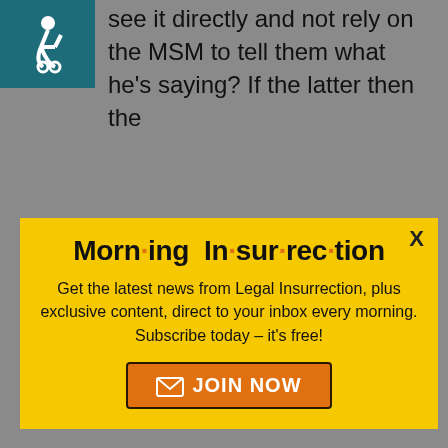[Figure (illustration): Wheelchair accessibility icon on teal/dark cyan background, top-left corner]
see it directly and not rely on the MSM to tell them what he’s saying? If the latter then the
[Figure (infographic): Yellow popup modal titled 'Morning Insurrection' with orange dots between syllables. Contains body text about subscribing to Legal Insurrection newsletter and an orange JOIN NOW button with envelope icon. X close button top-right.]
and you will be fair Y… will be the token… op
[Figure (infographic): Bottom ad banner: dark background with 'THE PERSPECTIVE' and 'SEE WHAT YOU’RE MISSING' text, yellow READ MORE button on right]